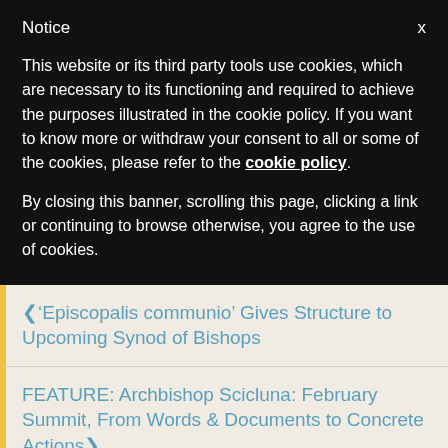Notice
This website or its third party tools use cookies, which are necessary to its functioning and required to achieve the purposes illustrated in the cookie policy. If you want to know more or withdraw your consent to all or some of the cookies, please refer to the cookie policy.
By closing this banner, scrolling this page, clicking a link or continuing to browse otherwise, you agree to the use of cookies.
‹'Episcopalis communio' Gives Structure to Upcoming Synod of Bishops
FEATURE: Archbishop Scicluna: February Summit, From Words & Documents to Concrete Actions›